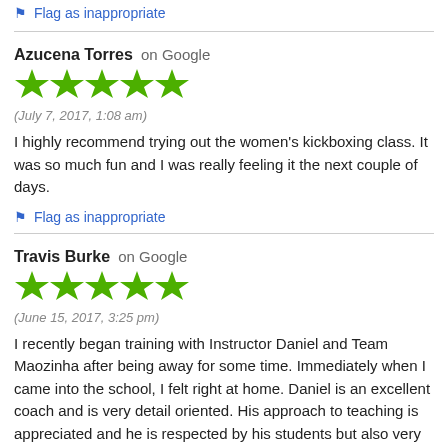Flag as inappropriate
Azucena Torres on Google
[Figure (other): 5 green stars rating]
(July 7, 2017, 1:08 am)
I highly recommend trying out the women's kickboxing class. It was so much fun and I was really feeling it the next couple of days.
Flag as inappropriate
Travis Burke on Google
[Figure (other): 5 green stars rating]
(June 15, 2017, 3:25 pm)
I recently began training with Instructor Daniel and Team Maozinha after being away for some time. Immediately when I came into the school, I felt right at home. Daniel is an excellent coach and is very detail oriented. His approach to teaching is appreciated and he is respected by his students but also very approachable. The structure of the class is good to cover all levels of technique. The students are respectful and willing to help and guide you through techniques, with a